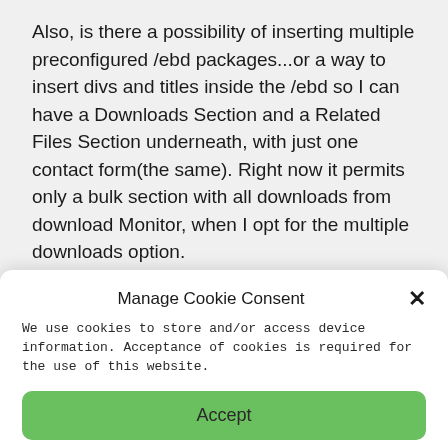Also, is there a possibility of inserting multiple preconfigured /ebd packages...or a way to insert divs and titles inside the /ebd so I can have a Downloads Section and a Related Files Section underneath, with just one contact form(the same). Right now it permits only a bulk section with all downloads from download Monitor, when I opt for the multiple downloads option.
Manage Cookie Consent
We use cookies to store and/or access device information. Acceptance of cookies is required for the use of this website.
Accept
Cookie Policy  Privacy Policy